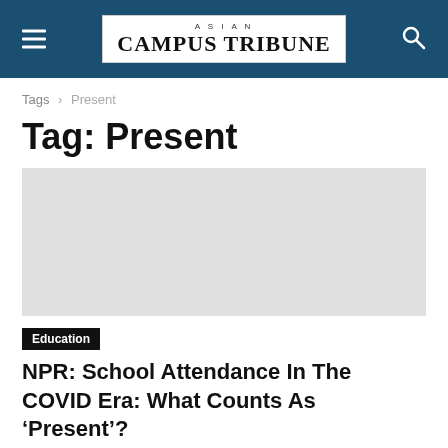ASIAN CAMPUS TRIBUNE
Tags › Present
Tag: Present
[Figure (photo): Article thumbnail image placeholder (gray)]
Education
NPR: School Attendance In The COVID Era: What Counts As ‘Present’?